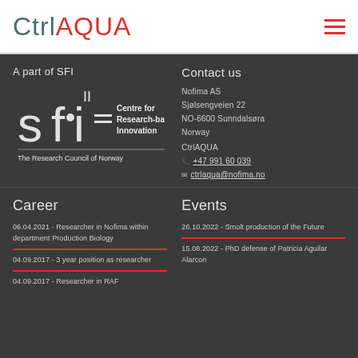CtrlAQUA
A part of SFI
[Figure (logo): SFI Centre for Research-based Innovation logo with text 'The Research Council of Norway']
Contact us
Nofima AS
Sjølsengveien 22
NO-6600 Sunndalsøra
Norway
CtrlAQUA
+47 991 60 039
ctrlaqua@nofima.no
Career
06.04.2021 - Researcher in Nofima within department Production Biology
04.09.2017 - 3 year position as researcher
04.09.2017 - Researcher in RAF
Events
26.10.2022 - Smolt production of the Future
15.08.2022 - PhD defense of Patricia Aguilar Alarcon